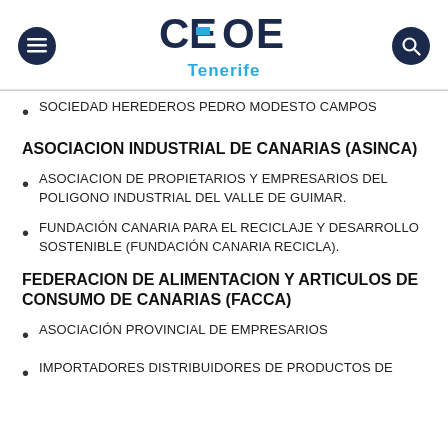[Figure (logo): CEOE Tenerife logo with hamburger menu button on left and search button on right]
SOCIEDAD HEREDEROS PEDRO MODESTO CAMPOS
ASOCIACION INDUSTRIAL DE CANARIAS (ASINCA)
ASOCIACION DE PROPIETARIOS Y EMPRESARIOS DEL POLIGONO INDUSTRIAL DEL VALLE DE GUIMAR.
FUNDACIÓN CANARIA PARA EL RECICLAJE Y DESARROLLO SOSTENIBLE (FUNDACIÓN CANARIA RECICLA).
FEDERACION DE ALIMENTACION Y ARTICULOS DE CONSUMO DE CANARIAS (FACCA)
ASOCIACIÓN PROVINCIAL DE EMPRESARIOS
IMPORTADORES DISTRIBUIDORES DE PRODUCTOS DE